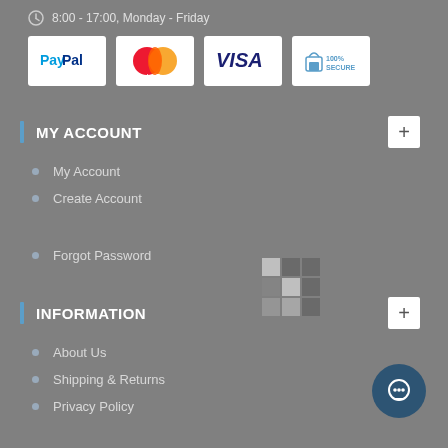8:00 - 17:00, Monday - Friday
[Figure (logo): Payment logos: PayPal, MasterCard, VISA, 100% Secure]
MY ACCOUNT
My Account
Create Account
Forgot Password
INFORMATION
About Us
Shipping & Returns
Privacy Policy